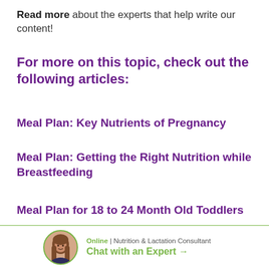Read more about the experts that help write our content!
For more on this topic, check out the following articles:
Meal Plan: Key Nutrients of Pregnancy
Meal Plan: Getting the Right Nutrition while Breastfeeding
Meal Plan for 18 to 24 Month Old Toddlers
Online | Nutrition & Lactation Consultant
Chat with an Expert →